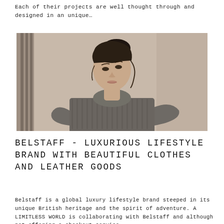Each of their projects are well thought through and designed in an unique…
[Figure (photo): Fashion photograph of a young woman with dark hair pulled up, wearing a chunky grey knit sweater, leaning against a metal/industrial background in muted sepia tones.]
BELSTAFF - LUXURIOUS LIFESTYLE BRAND WITH BEAUTIFUL CLOTHES AND LEATHER GOODS
Belstaff is a global luxury lifestyle brand steeped in its unique British heritage and the spirit of adventure. A LIMITLESS WORLD is collaborating with Belstaff and although not offering a checkout service